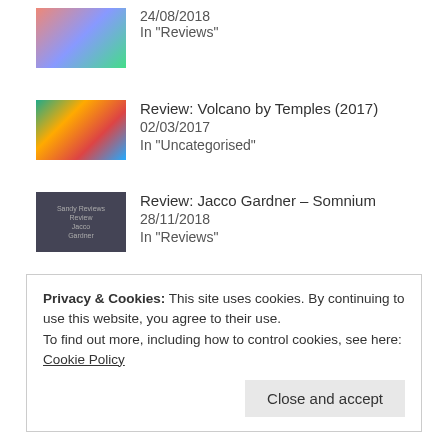[Figure (photo): Small thumbnail image, colorful abstract]
24/08/2018
In "Reviews"
Review: Volcano by Temples (2017)
02/03/2017
In "Uncategorised"
Review: Jacco Gardner – Somnium
28/11/2018
In "Reviews"
CATEGORIES
Reviews
Privacy & Cookies: This site uses cookies. By continuing to use this website, you agree to their use.
To find out more, including how to control cookies, see here: Cookie Policy
Close and accept
rock, surf rock